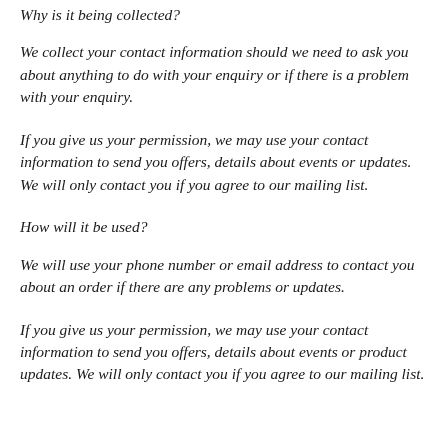Why is it being collected?
We collect your contact information should we need to ask you about anything to do with your enquiry or if there is a problem with your enquiry.
If you give us your permission, we may use your contact information to send you offers, details about events or updates. We will only contact you if you agree to our mailing list.
How will it be used?
We will use your phone number or email address to contact you about an order if there are any problems or updates.
If you give us your permission, we may use your contact information to send you offers, details about events or product updates. We will only contact you if you agree to our mailing list.